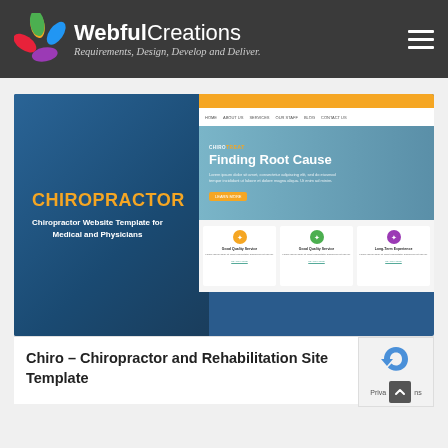WebfulCreations — Requirements, Design, Develop and Deliver.
[Figure (screenshot): Screenshot of a Chiro – Chiropractor and Rehabilitation Site Template, showing two panels: left panel with 'CHIROPRACTOR' heading in orange and 'Chiropractor Website Template for Medical and Physicians' subtitle on a blue background; right panel showing a website preview with orange top bar, navigation, 'Finding Root Cause' hero text, and three service cards below.]
Chiro – Chiropractor and Rehabilitation Site Template